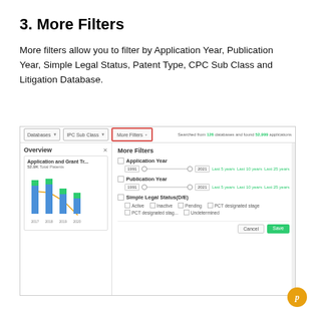3. More Filters
More filters allow you to filter by Application Year, Publication Year, Simple Legal Status, Patent Type, CPC Sub Class and Litigation Database.
[Figure (screenshot): Screenshot of a patent search interface showing the More Filters dropdown expanded with options for Application Year, Publication Year, and Simple Legal Status (Active, Inactive, Pending, PCT designated stage, Undetermined). The left side shows an Overview panel with a bar chart titled 'Application and Grant Tr...' showing 52.9K Total Patents for years 2017-2020. The More Filters button is highlighted with a red border.]